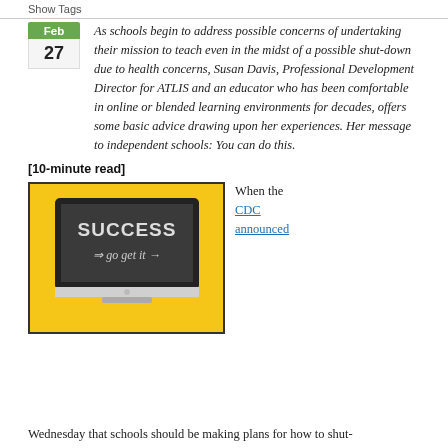Show Tags
As schools begin to address possible concerns of undertaking their mission to teach even in the midst of a possible shut-down due to health concerns, Susan Davis, Professional Development Director for ATLIS and an educator who has been comfortable in online or blended learning environments for decades, offers some basic advice drawing upon her experiences. Her message to independent schools: You can do this.
[10-minute read]
[Figure (illustration): A yellow-background image of a computer monitor displaying a chalkboard with 'SUCCESS => go get it ->' written on it in chalk style text.]
When the CDC announced
Wednesday that schools should be making plans for how to shut-